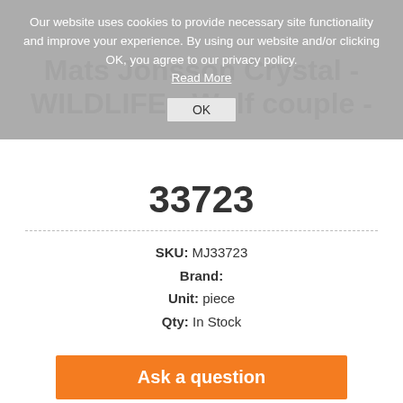Our website uses cookies to provide necessary site functionality and improve your experience. By using our website and/or clicking OK, you agree to our privacy policy. Read More
OK
Mats Jonsson Crystal - WILDLIFE - Wolf couple -
33723
SKU: MJ33723
Brand:
Unit: piece
Qty: In Stock
Ask a question
Price: 149,00 €